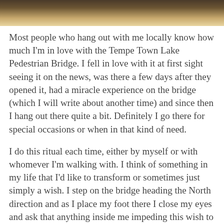[Figure (photo): Partial photo strip at top of page showing a wooden or bridge surface, cropped.]
Most people who hang out with me locally know how much I'm in love with the Tempe Town Lake Pedestrian Bridge.  I fell in love with it at first sight seeing it on the news, was there a few days after they opened it, had a miracle experience on the bridge (which I will write about another time) and since then I hang out there quite a bit.  Definitely I go there for special occasions or when in that kind of need.
I do this ritual each time, either by myself or with whomever I'm walking with.  I think of something in my life that I'd like to transform or sometimes just simply a wish.  I step on the bridge heading the North direction and as I place my foot there I close my eyes and ask that anything inside me impeding this wish to come